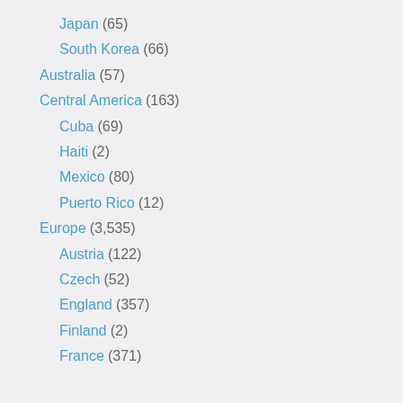Japan (65)
South Korea (66)
Australia (57)
Central America (163)
Cuba (69)
Haiti (2)
Mexico (80)
Puerto Rico (12)
Europe (3,535)
Austria (122)
Czech (52)
England (357)
Finland (2)
France (371)